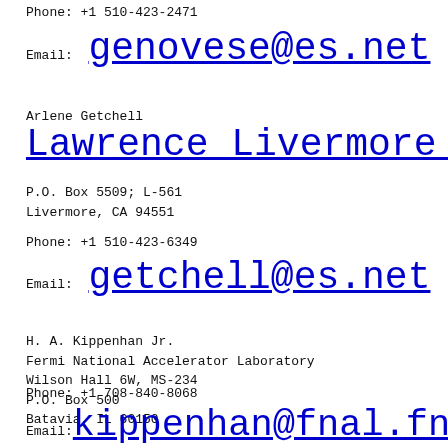Phone:   +1 510-423-2471
Email:   genovese@es.net
Arlene Getchell
Lawrence Livermore Nat
P.O. Box 5509; L-561
Livermore, CA 94551
Phone:   +1 510-423-6349
Email:   getchell@es.net
H. A. Kippenhan Jr.
Fermi National Accelerator Laboratory
Wilson Hall 6W, MS-234
P.O. Box 500
Batavia, IL 60150
Phone:   +1 708-840-8068
Email:   kippenhan@fnal.fnal